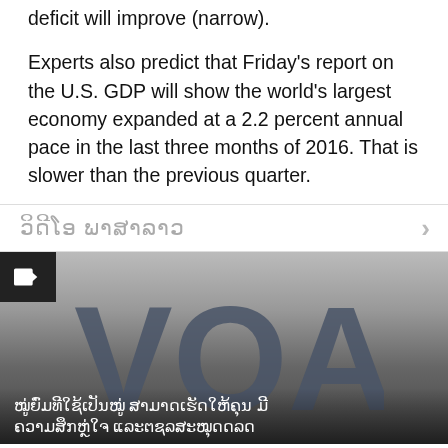deficit will improve (narrow).
Experts also predict that Friday's report on the U.S. GDP will show the world's largest economy expanded at a 2.2 percent annual pace in the last three months of 2016. That is slower than the previous quarter.
ວິດີໂອ ພາສາລາວ
[Figure (screenshot): VOA video thumbnail with Lao text overlay on a dark gradient background with large VOA logo letters]